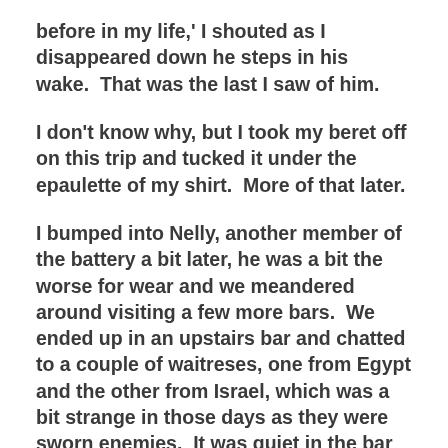before in my life,' I shouted as I disappeared down he steps in his wake.  That was the last I saw of him.
I don't know why, but I took my beret off on this trip and tucked it under the epaulette of my shirt.  More of that later.
I bumped into Nelly, another member of the battery a bit later, he was a bit the worse for wear and we meandered around visiting a few more bars.  We ended up in an upstairs bar and chatted to a couple of waitreses, one from Egypt and the other from Israel, which was a bit strange in those days as they were sworn enemies.  It was quiet in the bar so they were willing to chat even though they realised we were British soldiers and therefore unlikely to have any money to buy them drinks.  Nelly got up to